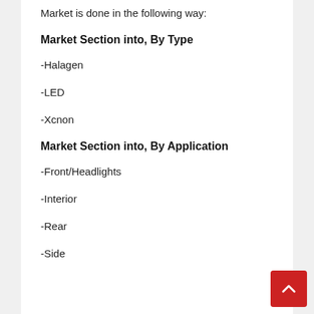Market is done in the following way:
Market Section into, By Type
-Halagen
-LED
-Xcnon
Market Section into, By Application
-Front/Headlights
-Interior
-Rear
-Side